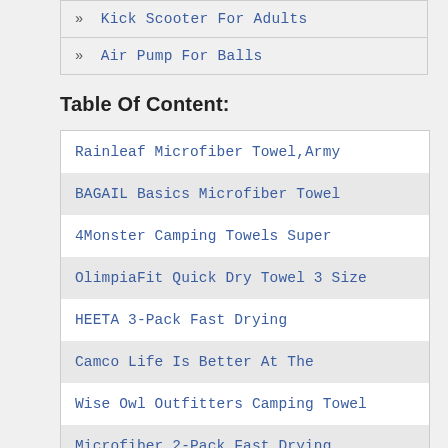» Kick Scooter For Adults
» Air Pump For Balls
Table Of Content:
Rainleaf Microfiber Towel,Army
BAGAIL Basics Microfiber Towel
4Monster Camping Towels Super
OlimpiaFit Quick Dry Towel 3 Size
HEETA 3-Pack Fast Drying
Camco Life Is Better At The
Wise Owl Outfitters Camping Towel
Microfiber 2-Pack Fast Drying
Kay Dee Designs Camping
4Monster 4 Pack Microfiber Bath